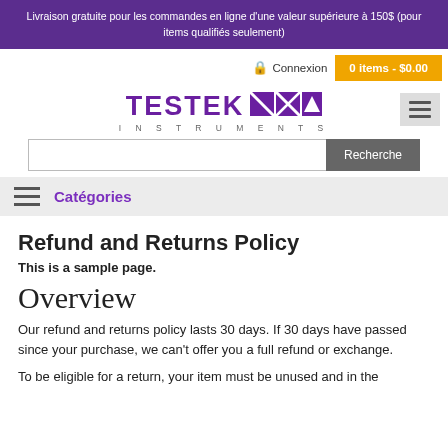Livraison gratuite pour les commandes en ligne d'une valeur supérieure à 150$ (pour items qualifiés seulement)
Connexion | 0 items - $0.00
[Figure (logo): TESTEK INSTRUMENTS logo with purple text and geometric icons]
Recherche
Catégories
Refund and Returns Policy
This is a sample page.
Overview
Our refund and returns policy lasts 30 days. If 30 days have passed since your purchase, we can't offer you a full refund or exchange.
To be eligible for a return, your item must be unused and in the